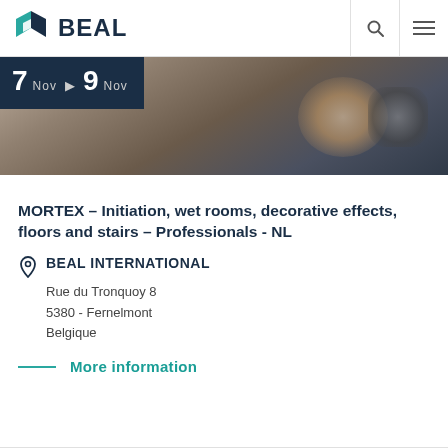BEAL
[Figure (photo): Person applying Mortex/trowel finish to a wall surface, close-up of hands and tool. Date badge overlay shows 7 Nov ▶ 9 Nov on dark navy background.]
MORTEX – Initiation, wet rooms, decorative effects, floors and stairs – Professionals - NL
BEAL INTERNATIONAL
Rue du Tronquoy 8
5380 - Fernelmont
Belgique
More information